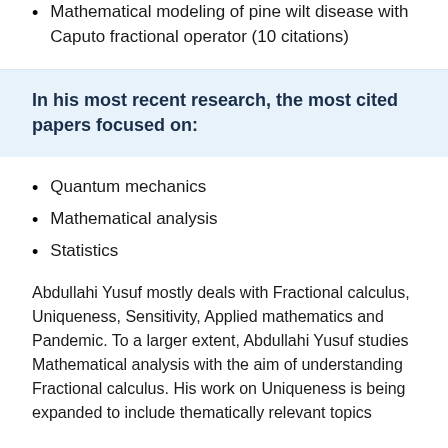Mathematical modeling of pine wilt disease with Caputo fractional operator (10 citations)
In his most recent research, the most cited papers focused on:
Quantum mechanics
Mathematical analysis
Statistics
Abdullahi Yusuf mostly deals with Fractional calculus, Uniqueness, Sensitivity, Applied mathematics and Pandemic. To a larger extent, Abdullahi Yusuf studies Mathematical analysis with the aim of understanding Fractional calculus. His work on Uniqueness is being expanded to include thematically relevant topics